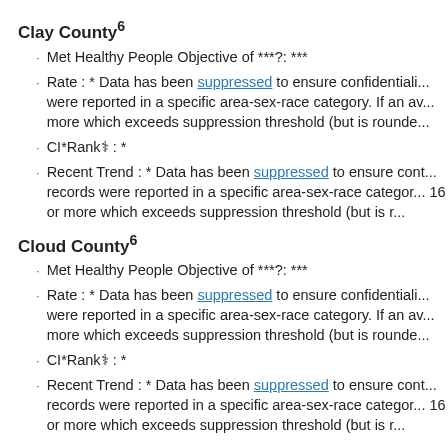Clay County⁶
Met Healthy People Objective of ***?: ***
Rate : * Data has been suppressed to ensure confidentiali... were reported in a specific area-sex-race category. If an av... more which exceeds suppression threshold (but is rounde...
CI*Rank⚕ : *
Recent Trend : * Data has been suppressed to ensure cont... records were reported in a specific area-sex-race categor... 16 or more which exceeds suppression threshold (but is r...
Cloud County⁶
Met Healthy People Objective of ***?: ***
Rate : * Data has been suppressed to ensure confidentiali... were reported in a specific area-sex-race category. If an av... more which exceeds suppression threshold (but is rounde...
CI*Rank⚕ : *
Recent Trend : * Data has been suppressed to ensure cont... records were reported in a specific area-sex-race categor... 16 or more which exceeds suppression threshold (but is r...
Coffey County⁶